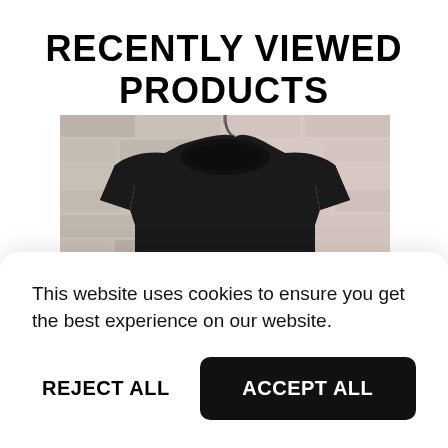RECENTLY VIEWED PRODUCTS
[Figure (photo): A black Stone Island crewneck sweater hanging on a hanger against a brick wall background]
This website uses cookies to ensure you get the best experience on our website.
REJECT ALL
ACCEPT ALL